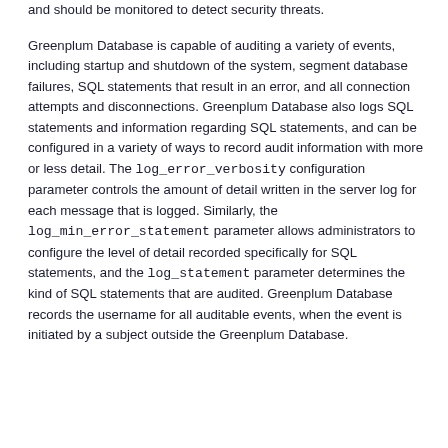and should be monitored to detect security threats.
Greenplum Database is capable of auditing a variety of events, including startup and shutdown of the system, segment database failures, SQL statements that result in an error, and all connection attempts and disconnections. Greenplum Database also logs SQL statements and information regarding SQL statements, and can be configured in a variety of ways to record audit information with more or less detail. The log_error_verbosity configuration parameter controls the amount of detail written in the server log for each message that is logged. Similarly, the log_min_error_statement parameter allows administrators to configure the level of detail recorded specifically for SQL statements, and the log_statement parameter determines the kind of SQL statements that are audited. Greenplum Database records the username for all auditable events, when the event is initiated by a subject outside the Greenplum Database.